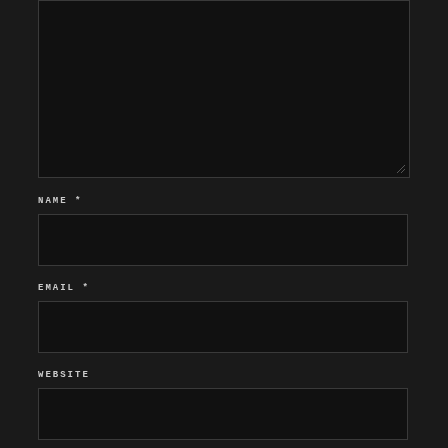[Figure (screenshot): Dark-themed web form with textarea (top, partially visible) and input fields for NAME, EMAIL, and WEBSITE on a near-black background]
NAME *
EMAIL *
WEBSITE